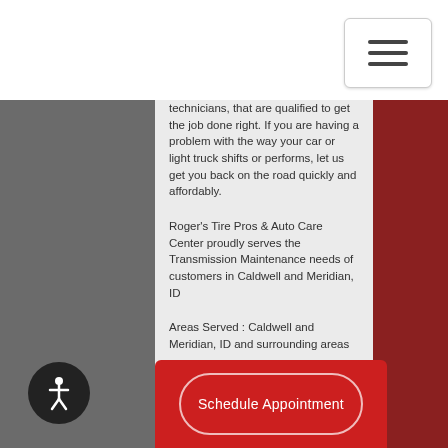technicians, that are qualified to get the job done right. If you are having a problem with the way your car or light truck shifts or performs, let us get you back on the road quickly and affordably.
Roger's Tire Pros & Auto Care Center proudly serves the Transmission Maintenance needs of customers in Caldwell and Meridian, ID
Areas Served : Caldwell and Meridian, ID and surrounding areas
Schedule Appointment